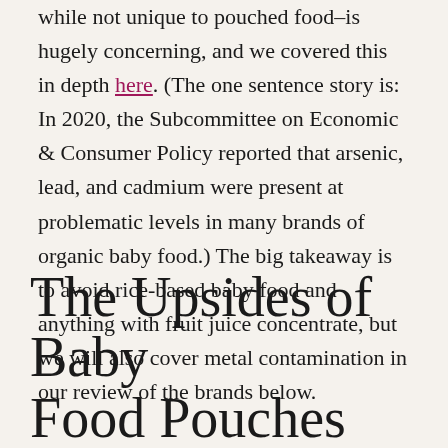while not unique to pouched food–is hugely concerning, and we covered this in depth here. (The one sentence story is: In 2020, the Subcommittee on Economic & Consumer Policy reported that arsenic, lead, and cadmium were present at problematic levels in many brands of organic baby food.) The big takeaway is to avoid rice-based baby food and anything with fruit juice concentrate, but we will also cover metal contamination in our review of the brands below.
The Upsides of Baby Food Pouches